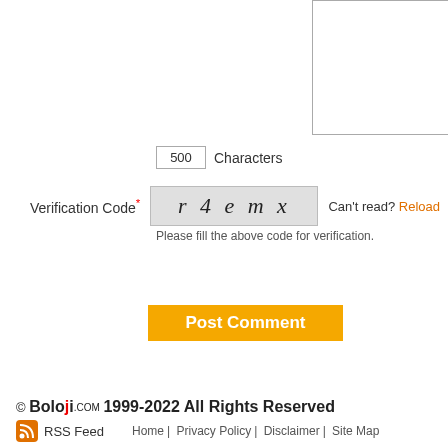[Figure (screenshot): Textarea input box for comment]
500 Characters
Verification Code* r4emx  Can't read? Reload
Please fill the above code for verification.
[Figure (screenshot): Verification code input box]
Post Comment
© Boloji.com 1999-2022 All Rights Reserved  RSS Feed  Home | Privacy Policy | Disclaimer | Site Map